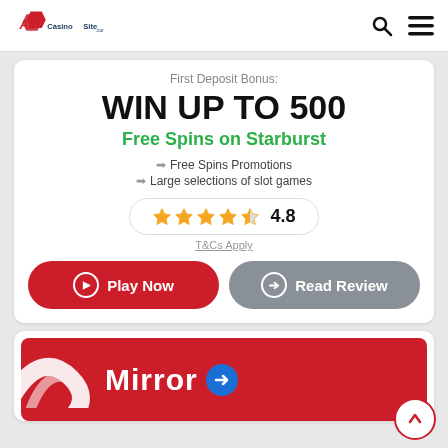AllCasinoSite.com
First Deposit Bonus:
WIN UP TO 500
Free Spins on Starburst
Free Spins Promotions
Large selections of slot games
4.8
T&Cs Apply
Play Now
Read Review
[Figure (screenshot): Red banner area showing Mirror casino logo at bottom of page]